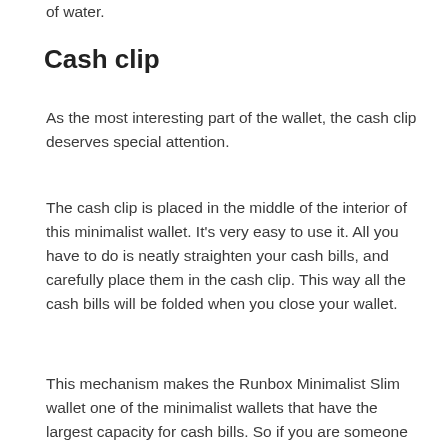of water.
Cash clip
As the most interesting part of the wallet, the cash clip deserves special attention.
The cash clip is placed in the middle of the interior of this minimalist wallet. It's very easy to use it. All you have to do is neatly straighten your cash bills, and carefully place them in the cash clip. This way all the cash bills will be folded when you close your wallet.
This mechanism makes the Runbox Minimalist Slim wallet one of the minimalist wallets that have the largest capacity for cash bills. So if you are someone that likes to carry a lot of cash with you, even when using a minimalist wallet, this would be a perfect choice.